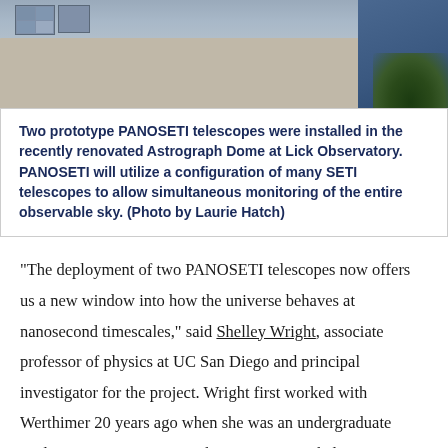[Figure (photo): Photo of a building with dome architecture at Lick Observatory, showing windows and wall with blue sky and trees in background]
Two prototype PANOSETI telescopes were installed in the recently renovated Astrograph Dome at Lick Observatory. PANOSETI will utilize a configuration of many SETI telescopes to allow simultaneous monitoring of the entire observable sky. (Photo by Laurie Hatch)
“The deployment of two PANOSETI telescopes now offers us a new window into how the universe behaves at nanosecond timescales,” said Shelley Wright, associate professor of physics at UC San Diego and principal investigator for the project. Wright first worked with Werthimer 20 years ago when she was an undergraduate student at UC Santa Cruz. She was a UC Berkeley postdoctoral fellow from 2009 to 2011.